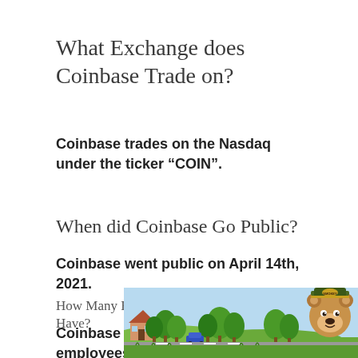What Exchange does Coinbase Trade on?
Coinbase trades on the Nasdaq under the ticker “COIN”.
When did Coinbase Go Public?
Coinbase went public on April 14th, 2021.
How Many Employees Does Coinbase Have?
Coinbase has about 1,500 employees
[Figure (illustration): Smokey Bear advertising banner with illustrated forest landscape showing trees, a house, and a bear mascot wearing a ranger hat with 'SMOKEY' text.]